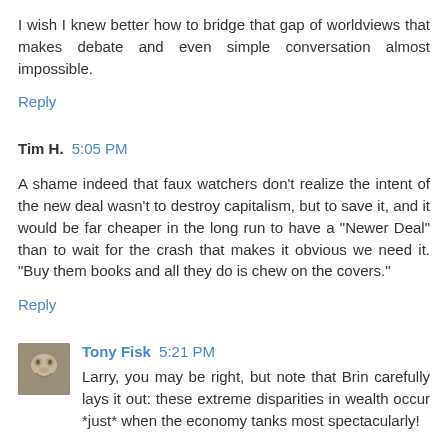I wish I knew better how to bridge that gap of worldviews that makes debate and even simple conversation almost impossible.
Reply
Tim H.  5:05 PM
A shame indeed that faux watchers don't realize the intent of the new deal wasn't to destroy capitalism, but to save it, and it would be far cheaper in the long run to have a "Newer Deal" than to wait for the crash that makes it obvious we need it. "Buy them books and all they do is chew on the covers."
Reply
Tony Fisk  5:21 PM
Larry, you may be right, but note that Brin carefully lays it out: these extreme disparities in wealth occur *just* when the economy tanks most spectacularly!